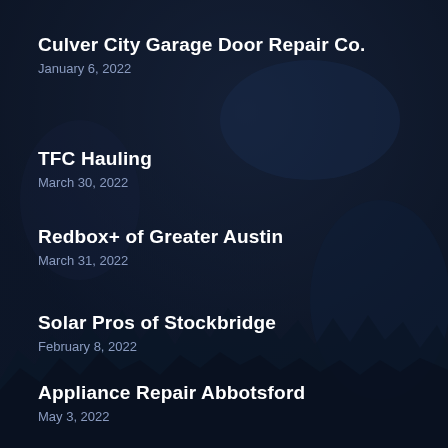Culver City Garage Door Repair Co.
January 6, 2022
TFC Hauling
March 30, 2022
Redbox+ of Greater Austin
March 31, 2022
Solar Pros of Stockbridge
February 8, 2022
Appliance Repair Abbotsford
May 3, 2022